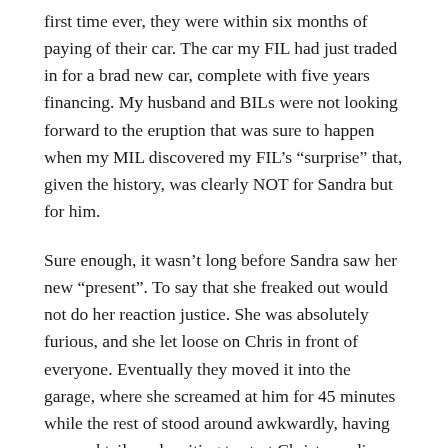first time ever, they were within six months of paying of their car. The car my FIL had just traded in for a brad new car, complete with five years financing. My husband and BILs were not looking forward to the eruption that was sure to happen when my MIL discovered my FIL’s “surprise” that, given the history, was clearly NOT for Sandra but for him.
Sure enough, it wasn’t long before Sandra saw her new “present”. To say that she freaked out would not do her reaction justice. She was absolutely furious, and she let loose on Chris in front of everyone. Eventually they moved it into the garage, where she screamed at him for 45 minutes while the rest of stood around awkwardly, having our cocktails and waiting to start Christmas dinner. When she finally came in, it was awful. She was still clearly irate, and was barely able to disguise her fury at Chris. I’d like to say Chris was sheepish, but mostly he seemed mad that his gift wasn’t received the way he wanted. She made passive-aggressive (or, frankly, mostly just aggressive comments) to him throughout dinner while he kept saying, “I SAID I’d